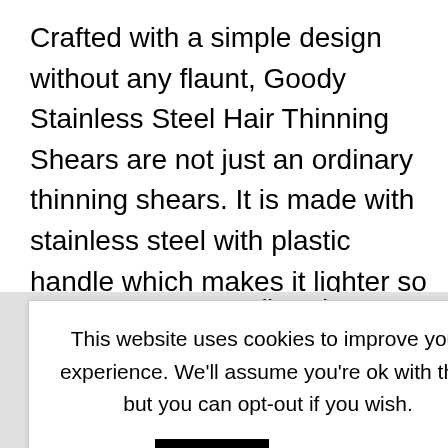Crafted with a simple design without any flaunt, Goody Stainless Steel Hair Thinning Shears are not just an ordinary thinning shears. It is made with stainless steel with plastic handle which makes it lighter so that it can be easy to handle especially for novices.
t adjust the product does e shears come
This website uses cookies to improve your experience. We'll assume you're ok with this, but you can opt-out if you wish. Accept Read More